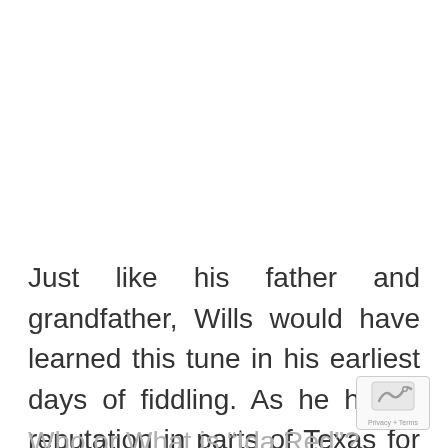Just like his father and grandfather, Wills would have learned this tune in his earliest days of fiddling. As he has a reputation in parts of Texas for his talent, playing the track would be as easy.
Who or What is “Ida Red”?